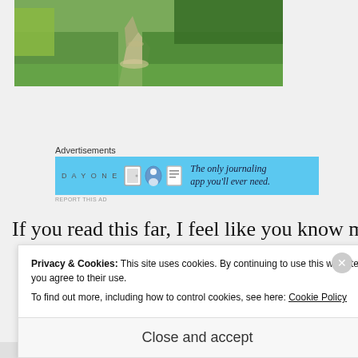[Figure (photo): Outdoor photo showing a dirt path or trail through green vegetation, grass, and trees in a tropical or subtropical setting.]
Advertisements
[Figure (screenshot): Day One app advertisement banner on light blue background with app icon, person icon, and journal icon. Text: 'DAY ONE - The only journaling app you'll ever need.']
REPORT THIS AD
If you read this far, I feel like you know me
Privacy & Cookies: This site uses cookies. By continuing to use this website, you agree to their use.
To find out more, including how to control cookies, see here: Cookie Policy
Close and accept